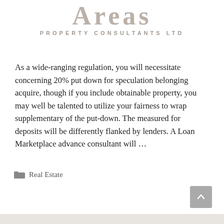PROPERTY CONSULTANTS LTD
As a wide-ranging regulation, you will necessitate concerning 20% put down for speculation belonging acquire, though if you include obtainable property, you may well be talented to utilize your fairness to wrap supplementary of the put-down. The measured for deposits will be differently flanked by lenders. A Loan Marketplace advance consultant will …
Real Estate